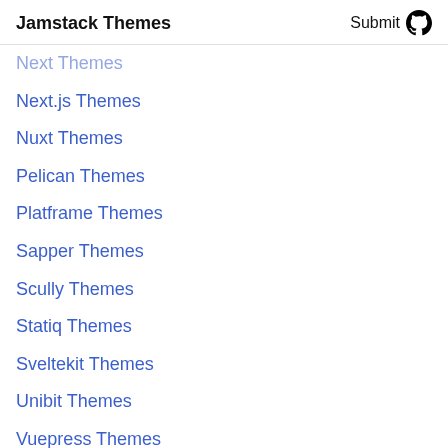Jamstack Themes   Submit
Next Themes
Next.js Themes
Nuxt Themes
Pelican Themes
Platframe Themes
Sapper Themes
Scully Themes
Statiq Themes
Sveltekit Themes
Unibit Themes
Vuepress Themes
Headless CMS Themes
Airtable Themes